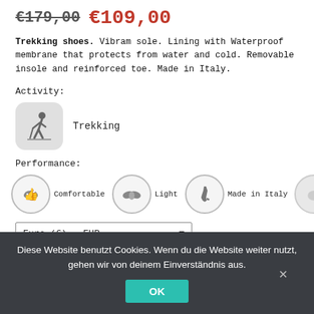€179,00 €109,00
Trekking shoes. Vibram sole. Lining with Waterproof membrane that protects from water and cold. Removable insole and reinforced toe. Made in Italy.
Activity:
[Figure (illustration): Trekking activity icon: person hiking with a hiking pole on a rounded square grey background]
Trekking
Performance:
[Figure (illustration): Performance icons: thumb up (Comfortable), wings (Light), Italy boot map (Made in Italy), water drop (Water-repellent)]
Euro (€) - EUR
SKU: GMX240TC999
Diese Website benutzt Cookies. Wenn du die Website weiter nutzt, gehen wir von deinem Einverständnis aus.